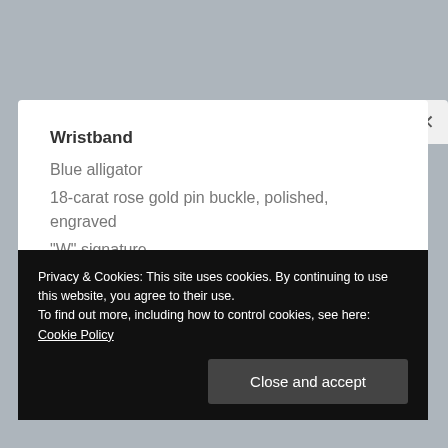Wristband
Blue alligator
18-carat rose gold pin buckle, polished, engraved
"W" signature
Edition
Limited edition of 10 pieces
Privacy & Cookies: This site uses cookies. By continuing to use this website, you agree to their use.
To find out more, including how to control cookies, see here: Cookie Policy
Close and accept